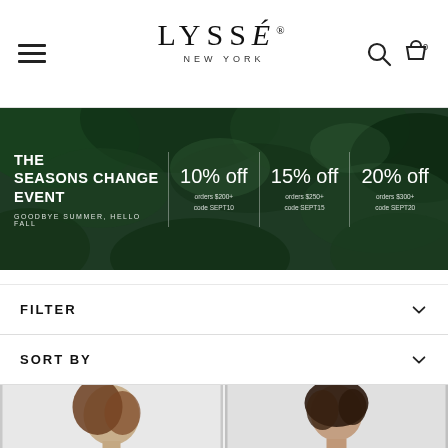LYSSÉ NEW YORK — navigation bar with hamburger menu, brand logo, search and cart icons
[Figure (infographic): Promotional banner: 'THE SEASONS CHANGE EVENT — GOODBYE SUMMER, HELLO FALL' with discount offers: 10% off orders $200+ code SEPT10, 15% off orders $250+ code SEPT15, 20% off orders $300+ code SEPT20. Dark green leafy background.]
FILTER
SORT BY
[Figure (photo): Two product photos side by side showing a woman wearing a light blue/mint jacket over a dark top]